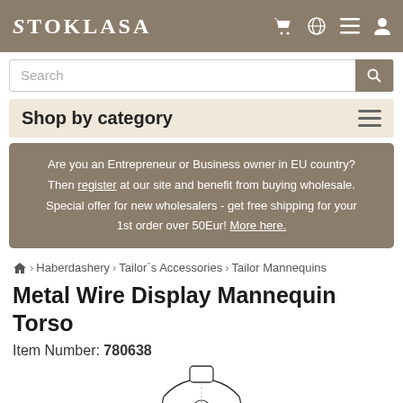STOKLASA
Search
Shop by category
Are you an Entrepreneur or Business owner in EU country? Then register at our site and benefit from buying wholesale. Special offer for new wholesalers - get free shipping for your 1st order over 50Eur! More here.
Home > Haberdashery > Tailor´s Accessories > Tailor Mannequins
Metal Wire Display Mannequin Torso
Item Number: 780638
[Figure (illustration): Line drawing of a wire mannequin torso, front view, showing neck, shoulder and body frame outline]